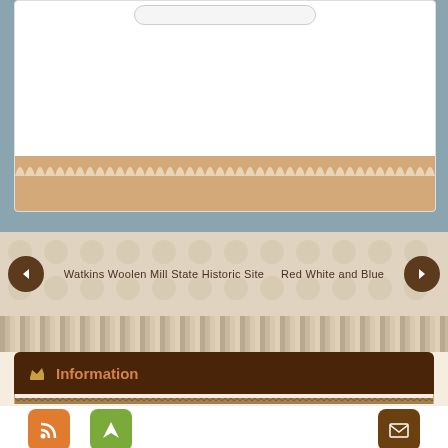[Figure (screenshot): White card with search bar at top and decorative lace/tan bottom border, on blue-gray background]
Watkins Woolen Mill State Historic Site    Red White and Blue
Information
[Figure (infographic): Three icon buttons: RSS feed (orange), Feather/Calibre (green), and Email (brown)]